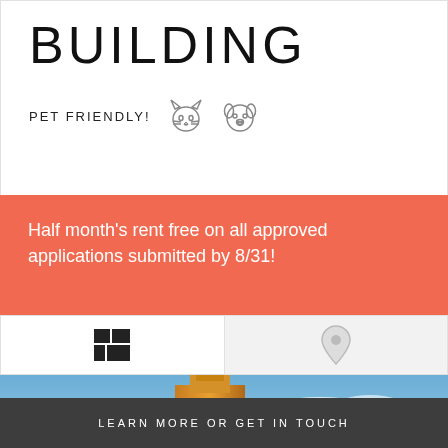BUILDING
PET FRIENDLY!
Half month's rent free on all approved applications submitted by 8/31!
[Figure (illustration): Grid/mosaic icon (window/layout icon) in black, left nav cell]
[Figure (illustration): Map pin / location icon in gray, right nav cell]
[Figure (photo): Photo of a large art-deco style building with tower, illuminated warm gold, against a blue sky with clouds]
LEARN MORE OR GET IN TOUCH